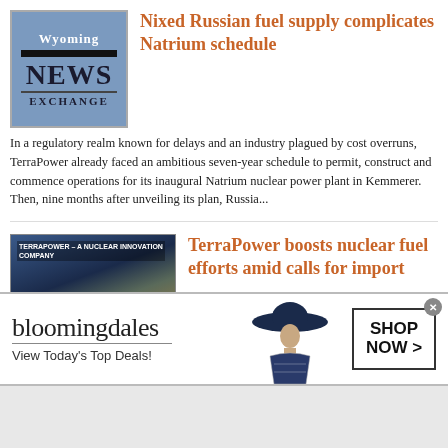[Figure (logo): Wyoming News Exchange logo — blue square with 'Wyoming' in white, black bar, 'NEWS EXCHANGE' text in dark]
Nixed Russian fuel supply complicates Natrium schedule
In a regulatory realm known for delays and an industry plagued by cost overruns, TerraPower already faced an ambitious seven-year schedule to permit, construct and commence operations for its inaugural Natrium nuclear power plant in Kemmerer. Then, nine months after unveiling its plan, Russia...
[Figure (screenshot): TerraPower – A Nuclear Innovation Company website screenshot showing industrial facility interior]
TerraPower boosts nuclear fuel efforts amid calls for import
[Figure (advertisement): Bloomingdales advertisement: 'View Today's Top Deals!' with model in hat and SHOP NOW button]